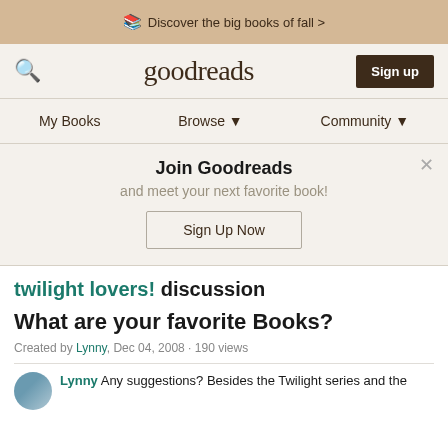Discover the big books of fall >
[Figure (screenshot): Goodreads navigation bar with search icon, goodreads logo, and Sign up button]
My Books  Browse ▼  Community ▼
Join Goodreads
and meet your next favorite book!
Sign Up Now
twilight lovers! discussion
What are your favorite Books?
Created by Lynny, Dec 04, 2008 · 190 views
Lynny Any suggestions? Besides the Twilight series and the